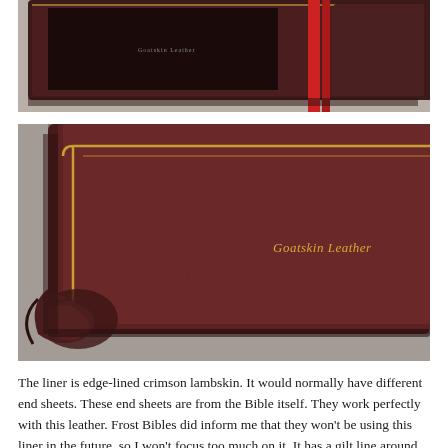[Figure (photo): Close-up photo of a dark burgundy goatskin leather Bible cover showing the spine area with red ribbon bookmark. Text 'Goatskin Leather' is visible on the cover.]
[Figure (photo): Close-up macro photo of the corner of a dark burgundy goatskin leather Bible cover with a gold gilt line border. Text 'Goatskin Leather' is visible in gold lettering on the cover surface.]
The liner is edge-lined crimson lambskin. It would normally have different end sheets. These end sheets are from the Bible itself. They work perfectly with this leather. Frost Bibles did inform me that they won't be using this liner in the future, so I won't focus too much on it. It has a gilt line around the inside of